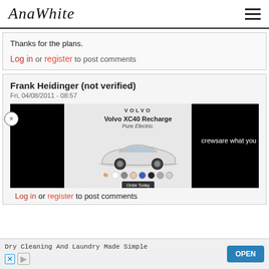AnaWhite
Thanks for the plans.
Log in or register to post comments
Frank Heidinger (not verified)
Fri, 04/08/2011 - 08:57
...crews are what you
...ments
[Figure (advertisement): Volvo XC40 Recharge Pure Electric advertisement with car image and color swatches]
Dry Cleaning And Laundry Made Simple  OPEN